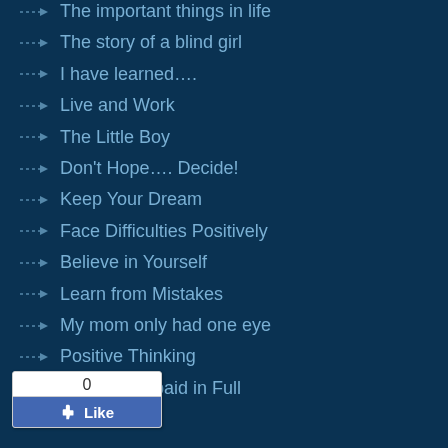The important things in life
The story of a blind girl
I have learned….
Live and Work
The Little Boy
Don't Hope…. Decide!
Keep Your Dream
Face Difficulties Positively
Believe in Yourself
Learn from Mistakes
My mom only had one eye
Positive Thinking
…s of Milk, paid in Full
…ess love
[Figure (screenshot): Facebook Like button widget showing count of 0]